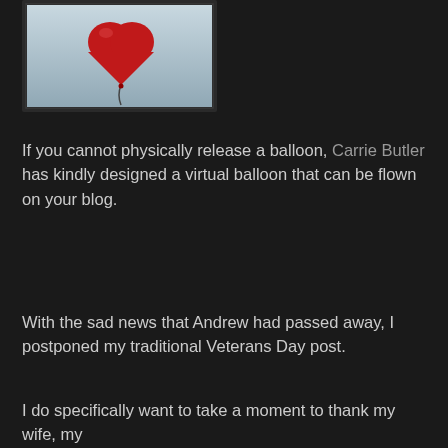[Figure (photo): A red heart-shaped balloon against a light blue/grey sky background, with a dark border frame around the image.]
If you cannot physically release a balloon, Carrie Butler has kindly designed a virtual balloon that can be flown on your blog.
With the sad news that Andrew had passed away, I postponed my traditional Veterans Day post.
I do specifically want to take a moment to thank my wife, my